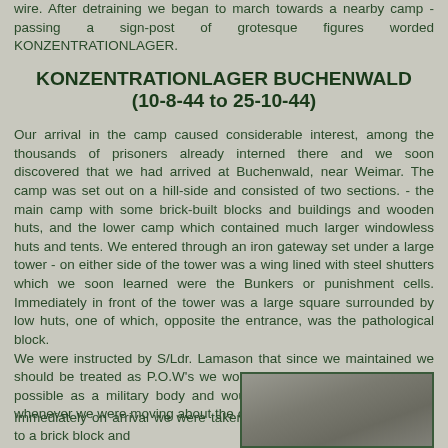wire. After detraining we began to march towards a nearby camp - passing a sign-post of grotesque figures worded KONZENTRATIONLAGER.
KONZENTRATIONLAGER BUCHENWALD
(10-8-44 to 25-10-44)
Our arrival in the camp caused considerable interest, among the thousands of prisoners already interned there and we soon discovered that we had arrived at Buchenwald, near Weimar. The camp was set out on a hill-side and consisted of two sections. - the main camp with some brick-built blocks and buildings and wooden huts, and the lower camp which contained much larger windowless huts and tents. We entered through an iron gateway set under a large tower - on either side of the tower was a wing lined with steel shutters which we soon learned were the Bunkers or punishment cells. Immediately in front of the tower was a large square surrounded by low huts, one of which, opposite the entrance, was the pathological block.
We were instructed by S/Ldr. Lamason that since we maintained we should be treated as P.O.W's we would conduct ourselves as far as possible as a military body and would accordingly march correctly whenever we were moving about the camp.
Immediately on arrival we were taken to a brick block and
[Figure (photo): Black and white photograph, partially visible at bottom right of page]